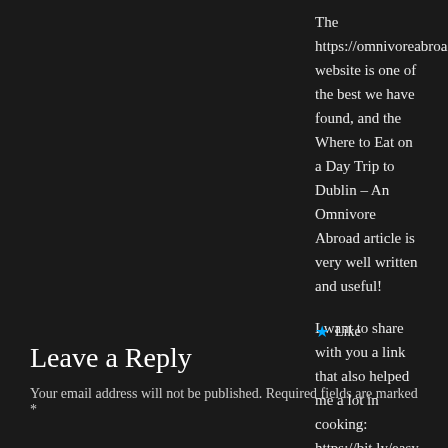The https://omnivoreabroad.com website is one of the best we have found, and the Where to Eat on a Day Trip to Dublin – An Omnivore Abroad article is very well written and useful!

I want to share with you a link that also helped me a lot in cooking: https://bit.ly/easy-fat-burning-recipes
Thanks and kisses! 🙂
★ Like
Leave a Reply
Your email address will not be published. Required fields are marked *